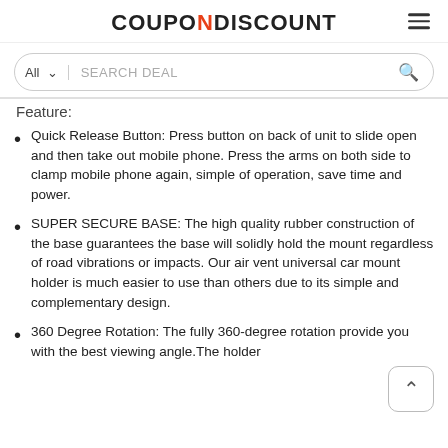COUPONI DISCOUNT
All  SEARCH DEAL
Feature:
Quick Release Button: Press button on back of unit to slide open and then take out mobile phone. Press the arms on both side to clamp mobile phone again, simple of operation, save time and power.
SUPER SECURE BASE: The high quality rubber construction of the base guarantees the base will solidly hold the mount regardless of road vibrations or impacts. Our air vent universal car mount holder is much easier to use than others due to its simple and complementary design.
360 Degree Rotation: The fully 360-degree rotation provide you with the best viewing angle.The holder